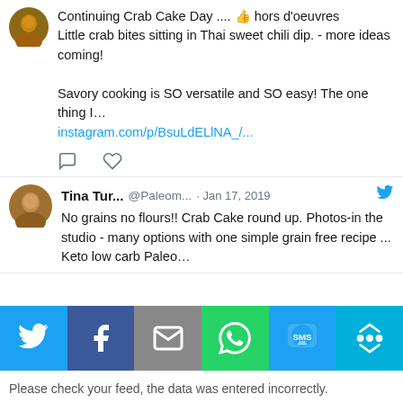[Figure (screenshot): Social media tweet screenshot showing crab cake post with avatar, text about crab bites in Thai sweet chili dip and Instagram link, with comment and heart action icons]
[Figure (screenshot): Social media tweet by Tina Tur... @Paleom... Jan 17, 2019 about no grains no flours crab cake round up with blue Twitter bird icon]
[Figure (infographic): Social sharing bar with six colored buttons: Twitter (blue), Facebook (dark blue), Email (gray), WhatsApp (green), SMS (blue), More (teal)]
Please check your feed, the data was entered incorrectly.